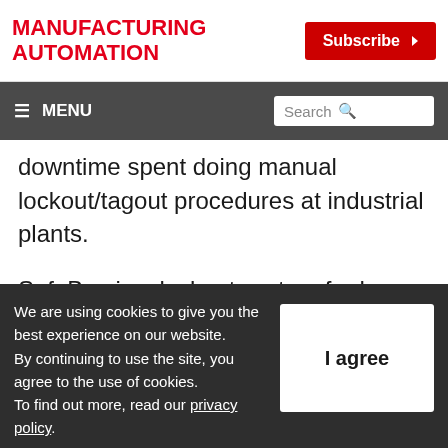MANUFACTURING AUTOMATION
downtime spent doing manual lockout/tagout procedures at industrial plants.
SafeBox is a lockout system for heavy industries – such as industrial manufacturing, mining and pulp and paper – that mechanically isolates energy sources from a
We are using cookies to give you the best experience on our website. By continuing to use the site, you agree to the use of cookies. To find out more, read our privacy policy.